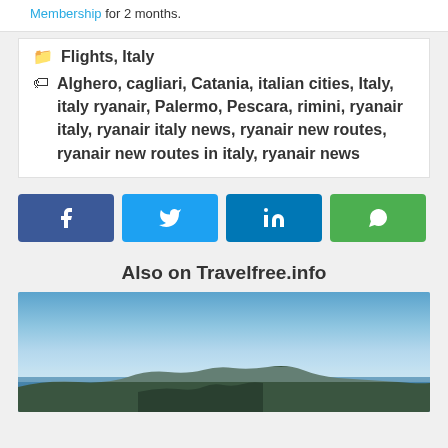Membership for 2 months.
Flights, Italy
Alghero, cagliari, Catania, italian cities, Italy, italy ryanair, Palermo, Pescara, rimini, ryanair italy, ryanair italy news, ryanair new routes, ryanair new routes in italy, ryanair news
[Figure (other): Social share buttons: Facebook, Twitter, LinkedIn, WhatsApp]
Also on Travelfree.info
[Figure (photo): Coastal landscape photo with blue sky and rocky coastline]